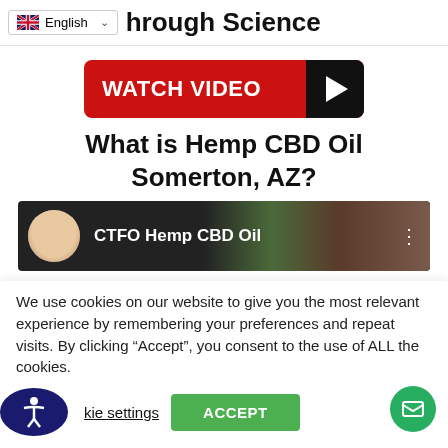English — hrough Science
[Figure (illustration): Red 'WATCH VIDEO' button with black play triangle on the right]
What is Hemp CBD Oil Somerton, AZ?
[Figure (screenshot): Video thumbnail showing 'CTFO Hemp CBD Oil' with a man's avatar and blurred background]
We use cookies on our website to give you the most relevant experience by remembering your preferences and repeat visits. By clicking “Accept”, you consent to the use of ALL the cookies.
Cookie settings
ACCEPT